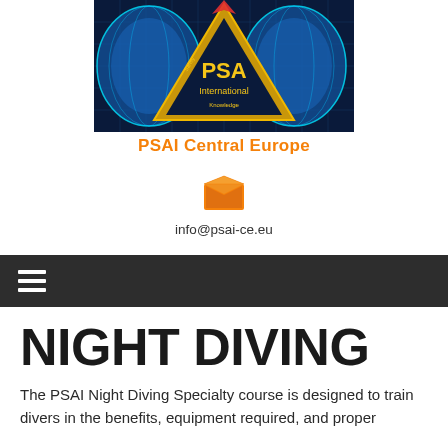[Figure (logo): PSAI International logo: gold triangle with world map background on dark grid, text 'PSA International' with Safety, Knowledge, Professional Scuba Instructors Association text around the triangle]
PSAI Central Europe
[Figure (illustration): Orange open envelope / email icon]
info@psai-ce.eu
NIGHT DIVING
The PSAI Night Diving Specialty course is designed to train divers in the benefits, equipment required, and proper